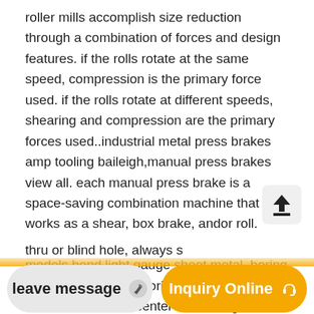roller mills accomplish size reduction through a combination of forces and design features. if the rolls rotate at the same speed, compression is the primary force used. if the rolls rotate at different speeds, shearing and compression are the primary forces used..industrial metal press brakes amp tooling baileigh,manual press brakes view all. each manual press brake is a space-saving combination machine that works as a shear, box brake, andor roll. great for hobbyists and small shops, these models bend light gauge sheet metal..boring on mill university of florida,always use neutral orientation center in a boring head on a mill. when setting up the workpiece, always ensure adequate
thru or blind hole, always s
leave message   Inquiry Online